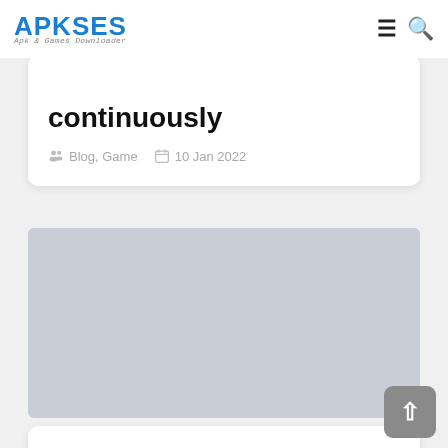APKSES — Apk & Games Downloader
continuously
Blog, Game  10 Jan 2022
[Figure (photo): Gray placeholder image block]
...